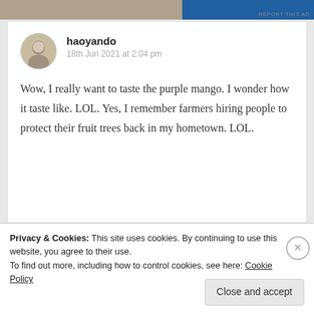[Figure (photo): Top advertisement image strip, partially visible, with 'REPORT THIS AD' text on the right]
haoyando
18th Jun 2021 at 2:04 pm

Wow, I really want to taste the purple mango. I wonder how it taste like. LOL. Yes, I remember farmers hiring people to protect their fruit trees back in my hometown. LOL.
Privacy & Cookies: This site uses cookies. By continuing to use this website, you agree to their use.
To find out more, including how to control cookies, see here: Cookie Policy